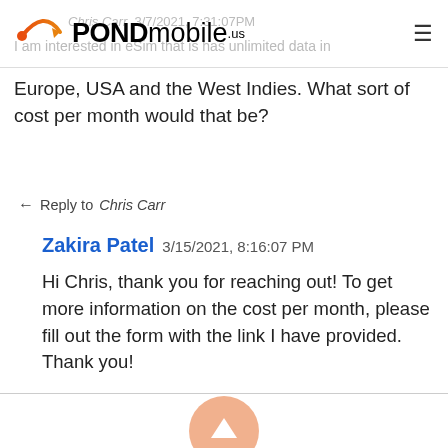[Figure (logo): POND mobile .us logo with orange arc and dot icon]
Europe, USA and the West Indies. What sort of cost per month would that be?
← Reply to Chris Carr
Zakira Patel 3/15/2021, 8:16:07 PM
Hi Chris, thank you for reaching out! To get more information on the cost per month, please fill out the form with the link I have provided. Thank you!